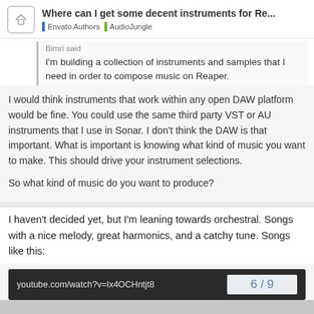Where can I get some decent instruments for Re... | Envato Authors | AudioJungle
Bimri said
I'm building a collection of instruments and samples that I need in order to compose music on Reaper.
I would think instruments that work within any open DAW platform would be fine. You could use the same third party VST or AU instruments that I use in Sonar. I don't think the DAW is that important. What is important is knowing what kind of music you want to make. This should drive your instrument selections.

So what kind of music do you want to produce?
I haven't decided yet, but I'm leaning towards orchestral. Songs with a nice melody, great harmonics, and a catchy tune. Songs like this:
[Figure (screenshot): YouTube embed showing URL: youtube.com/watch?v=Ix4OCHntjt8]
6 / 9